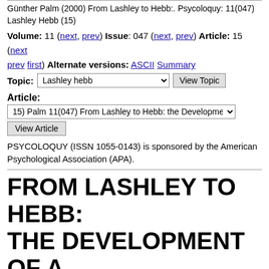Günther Palm (2000) From Lashley to Hebb:. Psycoloquy: 11(047) Lashley Hebb (15)
Volume: 11 (next, prev) Issue: 047 (next, prev) Article: 15 (next prev first) Alternate versions: ASCII Summary Topic: Lashley hebb [View Topic]
Article: 15) Palm 11(047) From Lashley to Hebb: the Development [View Article]
PSYCOLOQUY (ISSN 1055-0143) is sponsored by the American Psychological Association (APA).
FROM LASHLEY TO HEBB: THE DEVELOPMENT OF A BIOPHYSICAL THEORY OF LEARNING